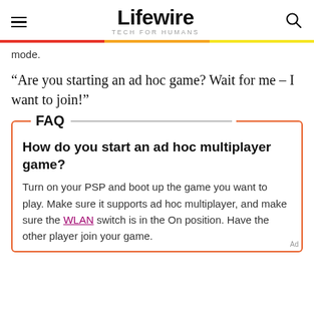Lifewire — TECH FOR HUMANS
mode.
“Are you starting an ad hoc game? Wait for me – I want to join!”
FAQ
How do you start an ad hoc multiplayer game?
Turn on your PSP and boot up the game you want to play. Make sure it supports ad hoc multiplayer, and make sure the WLAN switch is in the On position. Have the other player join your game.